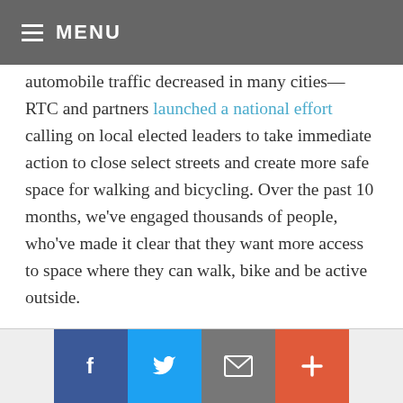MENU
automobile traffic decreased in many cities—RTC and partners launched a national effort calling on local elected leaders to take immediate action to close select streets and create more safe space for walking and bicycling. Over the past 10 months, we've engaged thousands of people, who've made it clear that they want more access to space where they can walk, bike and be active outside.
In response, more than 70 cities and towns have allocated streets for social distancing, with cities like Washington, D.C., Seattle and Oakland, among
[Figure (infographic): Social sharing bar with four buttons: Facebook (blue), Twitter (light blue), Email (gray), and Plus/share (orange-red)]